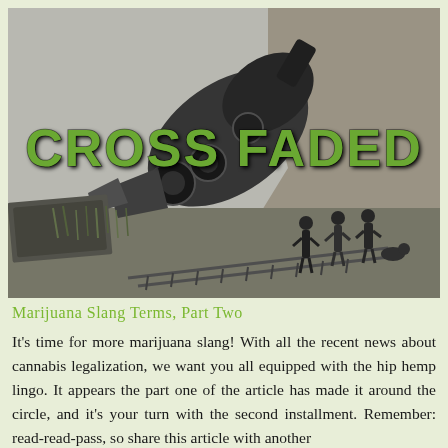[Figure (photo): Black and white historical photograph of a train wreck/derailment, with a locomotive overturned on its side near a hillside. Several people stand nearby observing the wreck. The text 'CROSS FADED' is overlaid in large green bold letters.]
Marijuana Slang Terms, Part Two
It's time for more marijuana slang! With all the recent news about cannabis legalization, we want you all equipped with the hip hemp lingo. It appears the part one of the article has made it around the circle, and it's your turn with the second installment. Remember: read-read-pass, so share this article with another